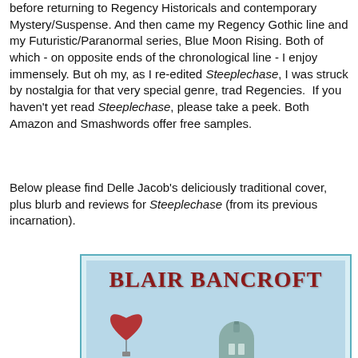before returning to Regency Historicals and contemporary Mystery/Suspense. And then came my Regency Gothic line and my Futuristic/Paranormal series, Blue Moon Rising. Both of which - on opposite ends of the chronological line - I enjoy immensely. But oh my, as I re-edited Steeplechase, I was struck by nostalgia for that very special genre, trad Regencies.  If you haven't yet read Steeplechase, please take a peek. Both Amazon and Smashwords offer free samples.
Below please find Delle Jacob's deliciously traditional cover, plus blurb and reviews for Steeplechase (from its previous incarnation).
[Figure (illustration): Book cover image for Steeplechase by Blair Bancroft. Shows 'BLAIR BANCROFT' in large dark red serif font at the top, with a heart-shaped red hot air balloon and a dome/building silhouette below, on a light blue sky background.]